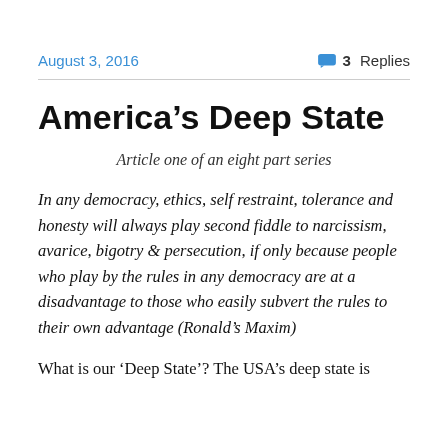August 3, 2016    💬 3 Replies
America's Deep State
Article one of an eight part series
In any democracy, ethics, self restraint, tolerance and honesty will always play second fiddle to narcissism, avarice, bigotry & persecution, if only because people who play by the rules in any democracy are at a disadvantage to those who easily subvert the rules to their own advantage (Ronald's Maxim)
What is our 'Deep State'? The USA's deep state is